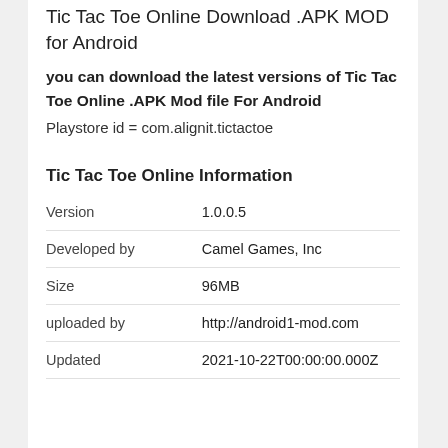Tic Tac Toe Online Download .APK MOD for Android
you can download the latest versions of Tic Tac Toe Online .APK Mod file For Android
Playstore id = com.alignit.tictactoe
Tic Tac Toe Online Information
|  |  |
| --- | --- |
| Version | 1.0.0.5 |
| Developed by | Camel Games, Inc |
| Size | 96MB |
| uploaded by | http://android1-mod.com |
| Updated | 2021-10-22T00:00:00.000Z |